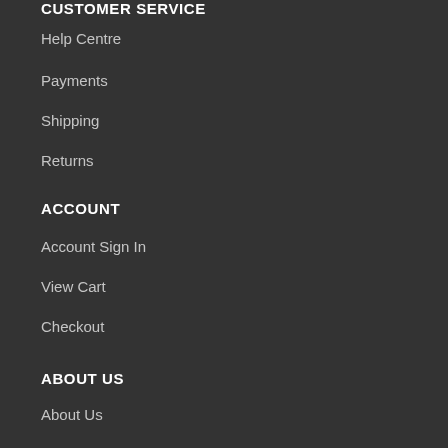CUSTOMER SERVICE
Help Centre
Payments
Shipping
Returns
ACCOUNT
Account Sign In
View Cart
Checkout
ABOUT US
About Us
Join The VIP Club
Financing
Our Blog
POLICIES